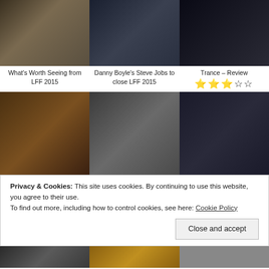[Figure (photo): Three movie stills: man at typewriter, Steve Jobs film still, Trance film still]
What's Worth Seeing from LFF 2015
Danny Boyle's Steve Jobs to close LFF 2015
Trance – Review ★★★☆☆
[Figure (photo): Three photos: warrior film still, Danny Boyle portrait, ODEON cinema exterior]
Privacy & Cookies: This site uses cookies. By continuing to use this website, you agree to their use.
To find out more, including how to control cookies, see here: Cookie Policy
Close and accept
[Figure (photo): Two more film stills at the bottom of the page]